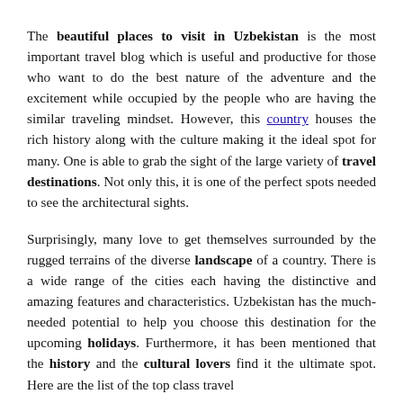The beautiful places to visit in Uzbekistan is the most important travel blog which is useful and productive for those who want to do the best nature of the adventure and the excitement while occupied by the people who are having the similar traveling mindset. However, this country houses the rich history along with the culture making it the ideal spot for many. One is able to grab the sight of the large variety of travel destinations. Not only this, it is one of the perfect spots needed to see the architectural sights.
Surprisingly, many love to get themselves surrounded by the rugged terrains of the diverse landscape of a country. There is a wide range of the cities each having the distinctive and amazing features and characteristics. Uzbekistan has the much-needed potential to help you choose this destination for the upcoming holidays. Furthermore, it has been mentioned that the history and the cultural lovers find it the ultimate spot. Here are the list of the top class travel spots and the travel destinations that are on the end...